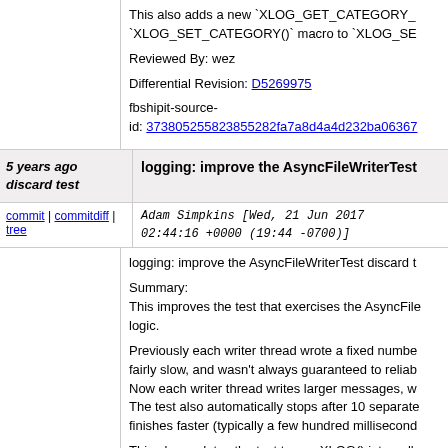This also adds a new `XLOG_GET_CATEGORY_`XLOG_SET_CATEGORY()` macro to `XLOG_SE
Reviewed By: wez
Differential Revision: D5269975
fbshipit-source-id: 373805255823855282fa7a8d4a4d232ba0636...
5 years ago discard test
logging: improve the AsyncFileWriterTest discard test
commit | commitdiff | tree    Adam Simpkins [Wed, 21 Jun 2017 02:44:16 +0000 (19:44 -0700)]
logging: improve the AsyncFileWriterTest discard t

Summary:
This improves the test that exercises the AsyncFile logic.

Previously each writer thread wrote a fixed number fairly slow, and wasn't always guaranteed to reliab Now each writer thread writes larger messages, w The test also automatically stops after 10 separate finishes faster (typically a few hundred millisecond

This also updates the test to use XLOG() internally